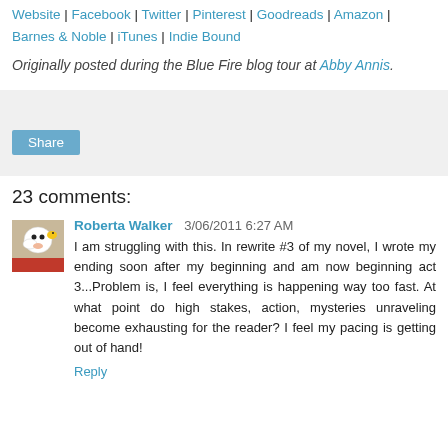Website | Facebook | Twitter | Pinterest | Goodreads | Amazon | Barnes & Noble | iTunes | Indie Bound
Originally posted during the Blue Fire blog tour at Abby Annis.
[Figure (other): Share button widget area with gray background]
23 comments:
Roberta Walker  3/06/2011 6:27 AM
I am struggling with this. In rewrite #3 of my novel, I wrote my ending soon after my beginning and am now beginning act 3...Problem is, I feel everything is happening way too fast. At what point do high stakes, action, mysteries unraveling become exhausting for the reader? I feel my pacing is getting out of hand!
Reply